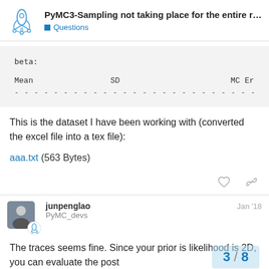PyMC3-Sampling not taking place for the entire r... | Questions
[Figure (screenshot): Code block showing beta summary statistics with columns: Mean, SD, MC Er (truncated). A dashed line separator is shown below column headers.]
This is the dataset I have been working with (converted the excel file into a tex file):
aaa.txt (563 Bytes)
[Figure (other): Heart (like) icon and link icon for post actions]
junpenglao — PyMC_devs — Jan '18
The traces seems fine. Since your prior is likelihood is 2D, you can evaluate the post